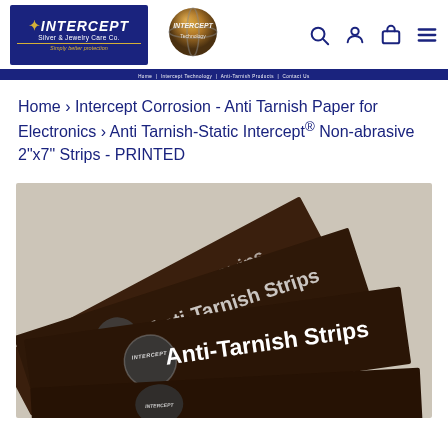[Figure (logo): Intercept Silver & Jewelry Care Co. logo (blue rectangle with star and text) and Intercept Technology logo (metallic sphere)]
Home › Intercept Corrosion - Anti Tarnish Paper for Electronics › Anti Tarnish-Static Intercept® Non-abrasive 2"x7" Strips - PRINTED
[Figure (photo): Three dark brown Anti-Tarnish Strips fanned out, each printed with Intercept logo and 'Anti-Tarnish Strips' text in white]